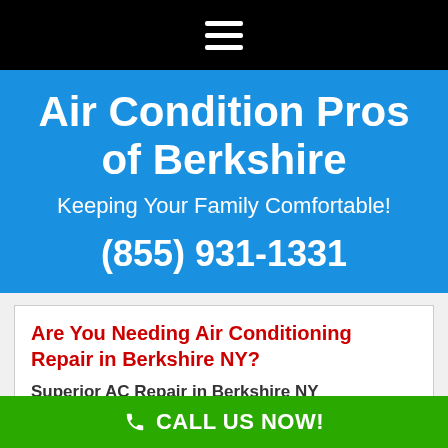[Figure (other): Black navigation bar with white hamburger menu icon (three horizontal lines)]
Air Condition Pros of Berkshire
Keeping Your Family Comfortable!
(855) 931-1331
Are You Needing Air Conditioning Repair in Berkshire NY?
Superior AC Repair in Berkshire NY
[Figure (other): Green call-to-action bar with phone icon and CALL US NOW! text in white]